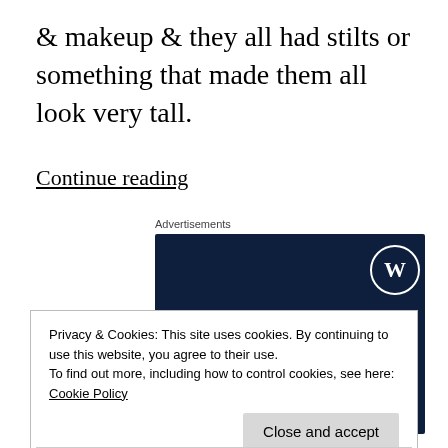& makeup & they all had stilts or something that made them all look very tall.
Continue reading
Advertisements
[Figure (illustration): WordPress advertisement banner with dark navy background, WordPress logo (W in circle) top right, text reading 'Opinions. We all have them!' in white serif font.]
Privacy & Cookies: This site uses cookies. By continuing to use this website, you agree to their use.
To find out more, including how to control cookies, see here: Cookie Policy
Close and accept